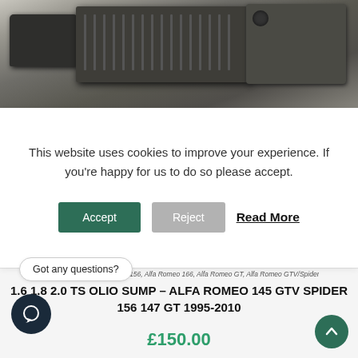[Figure (photo): Photo of a used metal engine oil sump part (Alfa Romeo) on a grey surface]
This website uses cookies to improve your experience. If you're happy for us to do so please accept.
Accept | Reject | Read More
Alfa Romeo 147, Alfa Romeo 156, Alfa Romeo 166, Alfa Romeo GT, Alfa Romeo GTV/Spider
1.6 1.8 2.0 TS OLIO SUMP – ALFA ROMEO 145 GTV SPIDER 156 147 GT 1995-2010
£150.00
Got any questions?